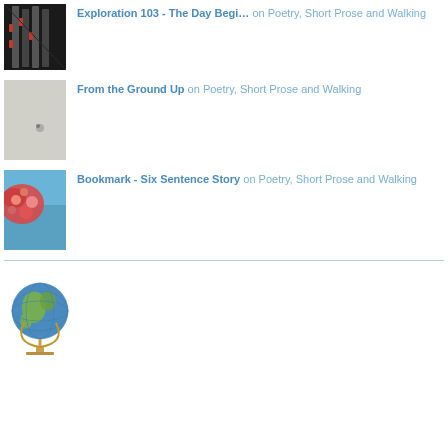Exploration 103 - The Day Begi... on Poetry, Short Prose and Walking
From the Ground Up on Poetry, Short Prose and Walking
Bookmark - Six Sentence Story on Poetry, Short Prose and Walking
[Figure (photo): Globe showing Africa and surrounding regions]